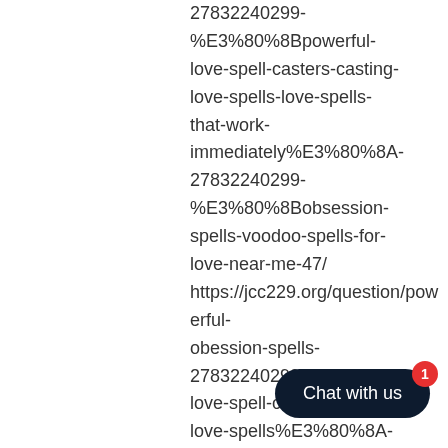27832240299-%E3%80%8Bpowerful-love-spell-casters-casting-love-spells-love-spells-that-work-immediately%E3%80%8A-27832240299-%E3%80%8Bobsession-spells-voodoo-spells-for-love-near-me-47/ https://jcc229.org/question/powerful-obession-spells-27832240299-effective-love-spell-casters-casting-love-spells%E3%80%8A-27832240299-%E3%80%8Bbes… voodoo-spells-for-love-